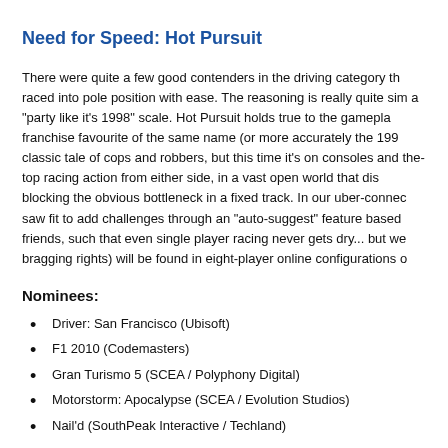Need for Speed: Hot Pursuit
There were quite a few good contenders in the driving category that raced into pole position with ease. The reasoning is really quite simple on a "party like it's 1998" scale. Hot Pursuit holds true to the gameplay franchise favourite of the same name (or more accurately the 1998 classic tale of cops and robbers, but this time it's on consoles and the-top racing action from either side, in a vast open world that blocking the obvious bottleneck in a fixed track. In our uber-connected saw fit to add challenges through an "auto-suggest" feature based friends, such that even single player racing never gets dry... but we bragging rights) will be found in eight-player online configurations o
Nominees:
Driver: San Francisco (Ubisoft)
F1 2010 (Codemasters)
Gran Turismo 5 (SCEA / Polyphony Digital)
Motorstorm: Apocalypse (SCEA / Evolution Studios)
Nail'd (SouthPeak Interactive / Techland)